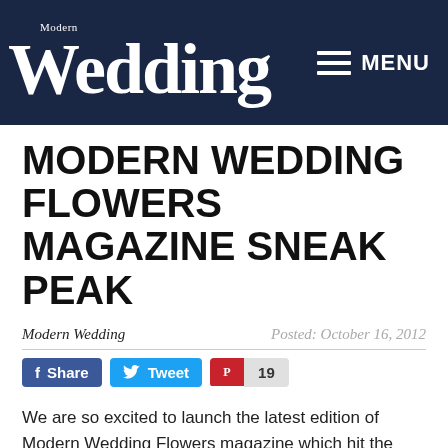Modern Wedding — MENU
MODERN WEDDING FLOWERS MAGAZINE SNEAK PEAK
Modern Wedding Posted: October 16, 2012
Share  Tweet  19
We are so excited to launch the latest edition of Modern Wedding Flowers magazine which hit the stands last Friday. This annual title is more than just a flowers magazine, it is